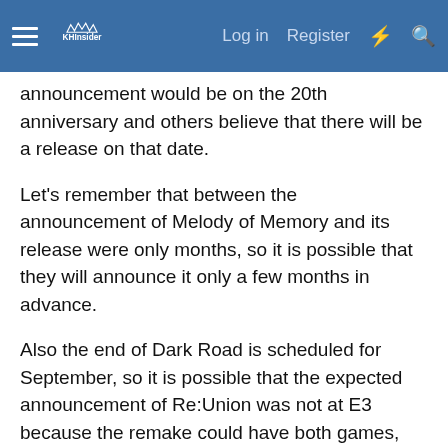KHInsider — Log in | Register
announcement would be on the 20th anniversary and others believe that there will be a release on that date.
Let's remember that between the announcement of Melody of Memory and its release were only months, so it is possible that they will announce it only a few months in advance.
Also the end of Dark Road is scheduled for September, so it is possible that the expected announcement of Re:Union was not at E3 because the remake could have both games, and I think everyone who has seen the end of UX will know how closely connected these two titles are.
Nomura told us that, apart from UX and MoM, there were two teams working on the series right now, and by the 20th anniversary it will have been 3 years since the release of KH3.
We also know that immediately after the release they started working on the next title, with only a small part of the team was in charge of Remind, and we don't know how long the second